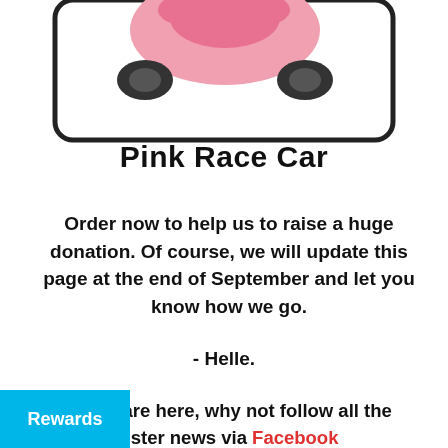[Figure (photo): Partial view of a pink race car toy inside a bordered rectangular frame, seen from above, showing the pink roof and dark wheels against a white background.]
Pink Race Car
Order now to help us to raise a huge donation. Of course, we will update this page at the end of September and let you know how we go.
- Helle.
While you are here, why not follow all the Love our Sister news via Facebook